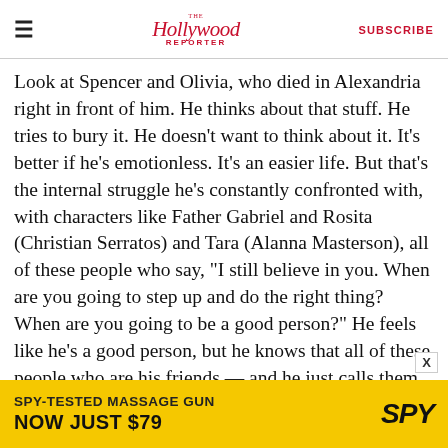The Hollywood Reporter | SUBSCRIBE
Look at Spencer and Olivia, who died in Alexandria right in front of him. He thinks about that stuff. He tries to bury it. He doesn’t want to think about it. It’s better if he’s emotionless. It’s an easier life. But that’s the internal struggle he’s constantly confronted with, with characters like Father Gabriel and Rosita (Christian Serratos) and Tara (Alanna Masterson), all of these people who say, “I still believe in you. When are you going to step up and do the right thing? When are you going to be a good person?” He feels like he’s a good person, but he knows that all of these people who are his friends — and he just calls them “traveling companions”
[Figure (other): Advertisement banner: SPY-TESTED MASSAGE GUN NOW JUST $79 with SPY logo on yellow background]